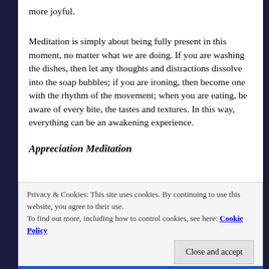more joyful.
Meditation is simply about being fully present in this moment, no matter what we are doing. If you are washing the dishes, then let any thoughts and distractions dissolve into the soap bubbles; if you are ironing, then become one with the rhythm of the movement; when you are eating, be aware of every bite, the tastes and textures. In this way, everything can be an awakening experience.
Appreciation Meditation
Privacy & Cookies: This site uses cookies. By continuing to use this website, you agree to their use.
To find out more, including how to control cookies, see here: Cookie Policy
Close and accept